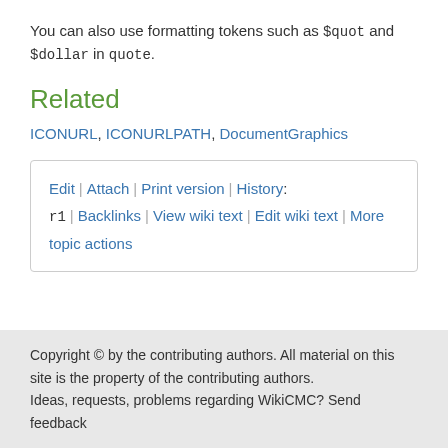You can also use formatting tokens such as $quot and $dollar in quote.
Related
ICONURL, ICONURLPATH, DocumentGraphics
Edit | Attach | Print version | History: r1 | Backlinks | View wiki text | Edit wiki text | More topic actions
Copyright © by the contributing authors. All material on this site is the property of the contributing authors. Ideas, requests, problems regarding WikiCMC? Send feedback